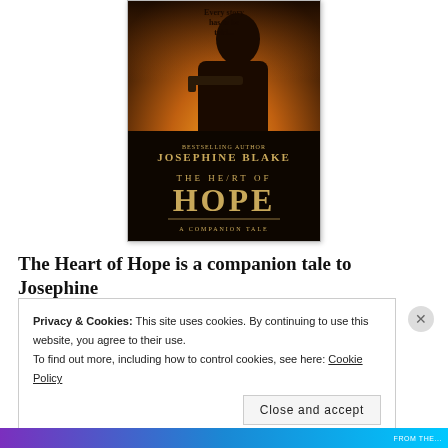[Figure (illustration): Book cover of 'The Heart of Hope' by Josephine Blake. Dark atmospheric cover showing a silhouette of a person holding a gun against an orange/golden sunset background. Text on cover: 'Every story has to be told...', 'BESTSELLING AUTHOR JOSEPHINE BLAKE', 'THE HEART OF HOPE', 'A COMPANION TALE']
The Heart of Hope is a companion tale to Josephine
Privacy & Cookies: This site uses cookies. By continuing to use this website, you agree to their use.
To find out more, including how to control cookies, see here: Cookie Policy
Close and accept